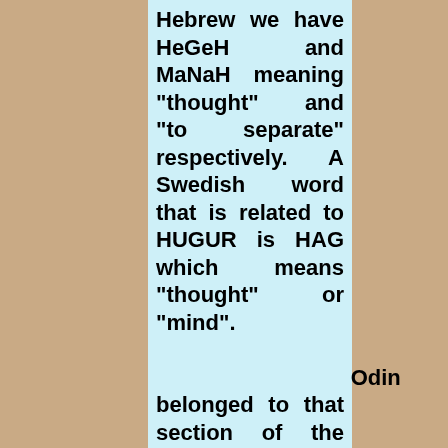Hebrew we have HeGeH and MaNaH meaning "thought" and "to separate" respectively. A Swedish word that is related to HUGUR is HAG which means "thought" or "mind". Odin belonged to that section of the gods known as "Aesir". In "The Tribes" the Aesir are identified with the Israelite Tribe of of Asher. Mimir, also known as